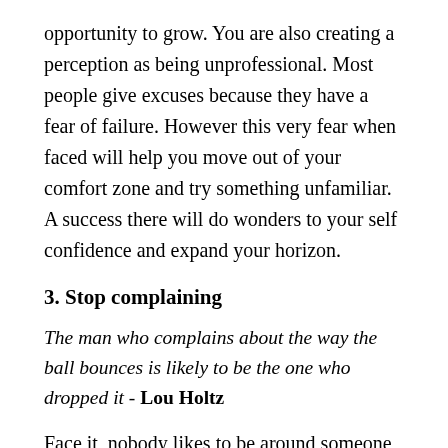opportunity to grow. You are also creating a perception as being unprofessional. Most people give excuses because they have a fear of failure. However this very fear when faced will help you move out of your comfort zone and try something unfamiliar. A success there will do wonders to your self confidence and expand your horizon.
3. Stop complaining
The man who complains about the way the ball bounces is likely to be the one who dropped it - Lou Holtz
Face it, nobody likes to be around someone who complains. Complaining drains you and others of their energy. Yes, there are times when all of us feel